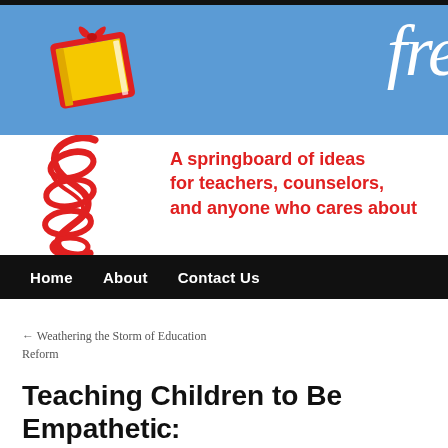[Figure (logo): Free Spirit Publishing logo: yellow book with red ribbon/spring below, on blue header band with 'fre' white italic text top right, and red bold tagline 'A springboard of ideas for teachers, counselors, and anyone who cares about']
Home   About   Contact Us
← Weathering the Storm of Education Reform
Teaching Children to Be Empathetic: Avoid the “Othering” of Need
Posted on November 24, 2015 by Free Spirit Author